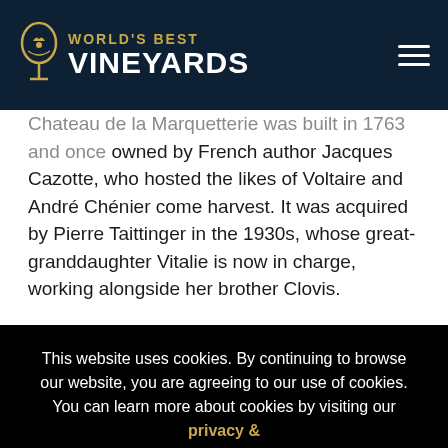[Figure (logo): World's Best Vineyards logo with wine glass icon and text]
Chateau de la Marquetterie was built in 1763 and once owned by French author Jacques Cazotte, who hosted the likes of Voltaire and André Chénier come harvest. It was acquired by Pierre Taittinger in the 1930s, whose great-granddaughter Vitalie is now in charge, working alongside her brother Clovis.
This website uses cookies. By continuing to browse our website, you are agreeing to our use of cookies. You can learn more about cookies by visiting our privacy & cookies policy page.
I Agree